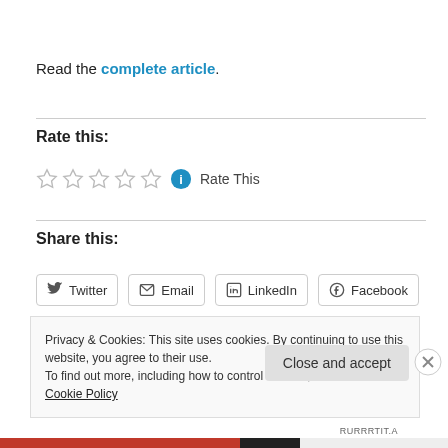Read the complete article.
Rate this:
☆☆☆☆☆ ℹ Rate This
Share this:
Twitter  Email  LinkedIn  Facebook
Privacy & Cookies: This site uses cookies. By continuing to use this website, you agree to their use.
To find out more, including how to control cookies, see here: Cookie Policy
Close and accept